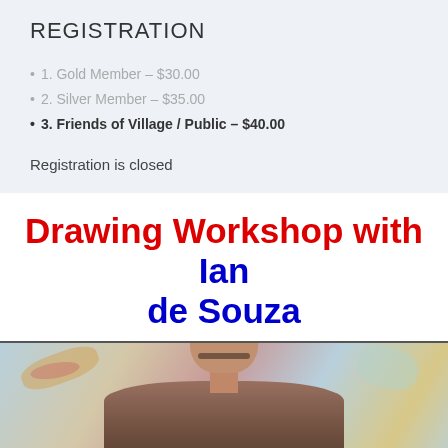REGISTRATION
1. Gold Member – $30.00
2. Silver Member – $35.00
3. Friends of Village / Public – $40.00
Registration is closed
Drawing Workshop with Ian de Souza
[Figure (photo): Portrait photograph of Ian de Souza against an abstract painted background with warm and cool colors]